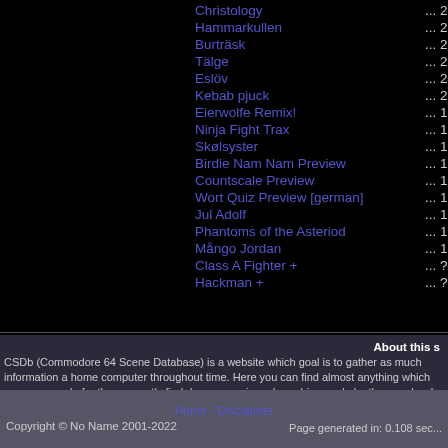Christology ... 2005 Demo
Hammarkullen ... 2004 Demo
Burträsk ... 2003 Demo
Tälge ... 2001 One-File De...
Eslöv ... 2001 One-File De...
Kebab pjuck ... 2000 Demo
Eierwolfe Remix! ... 1998 Music
Ninja Fight Trax ... 1998 Music
Skølsyster ... 1998 Graphics
Birdie Nam Nam Preview ... 1995 Crack (Prev...
Countscale Preview ... 1995 Crack (Prev...
Wort Quiz Preview [german] ... 1995 Crack (Prev...
Jul Adolf ... 1995 Demo
Phantoms of the Asteriod ... 1995 Crack
Mångo Jordan ... 1994 One-File De...
Class A Fighter + ... ??? Crack
Hackman + ... ??? Crack
About this s...
CSDb (Commodore 64 Scene Database) is a website which goal is to gather as much information a... home computer throughout time. Here you can find almost anything which was ever made for the co... mostly find demos, music and graphics made by the people who made the scene (the sceners), but ... corner, or check out the CSDb main p...
Home - Disclaimer
Copyright © No Name 2001-2022
Page generated in: 0.108 sec...